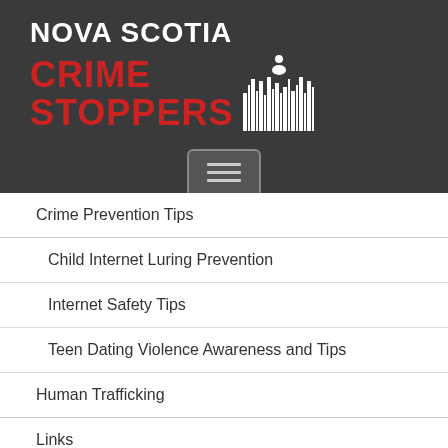[Figure (logo): Nova Scotia Crime Stoppers logo with red CRIME STOPPERS text, white NOVA SCOTIA text, barcode graphic with person silhouette, on dark grey background]
Crime Prevention Tips
Child Internet Luring Prevention
Internet Safety Tips
Teen Dating Violence Awareness and Tips
Human Trafficking
Links
Online Tips
Programs